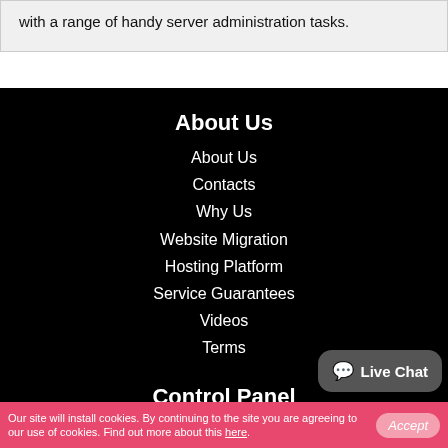with a range of handy server administration tasks.
About Us
About Us
Contacts
Why Us
Website Migration
Hosting Platform
Service Guarantees
Videos
Terms
Control Panel
Web Hosting Control Panel
Hepsia vs cPanel
Our site will install cookies. By continuing to the site you are agreeing to our use of cookies. Find out more about this here.